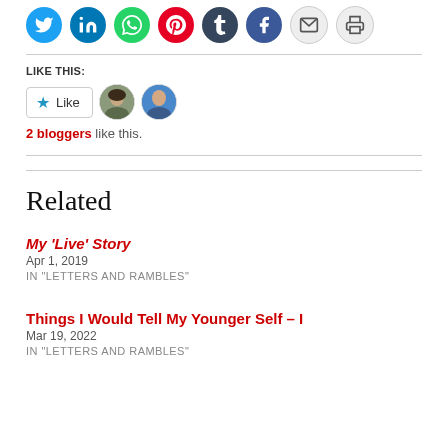[Figure (other): Row of social media share icons: Twitter (blue), LinkedIn (blue), WhatsApp (green), Pinterest (red), Tumblr (dark navy), Facebook (blue), Email (gray), Print (gray)]
LIKE THIS:
[Figure (other): WordPress Like button with star icon and label 'Like', followed by two blogger avatar photos]
2 bloggers like this.
Related
My ‘Live’ Story
Apr 1, 2019
IN "LETTERS AND RAMBLES"
Things I Would Tell My Younger Self – I
Mar 19, 2022
IN "LETTERS AND RAMBLES"